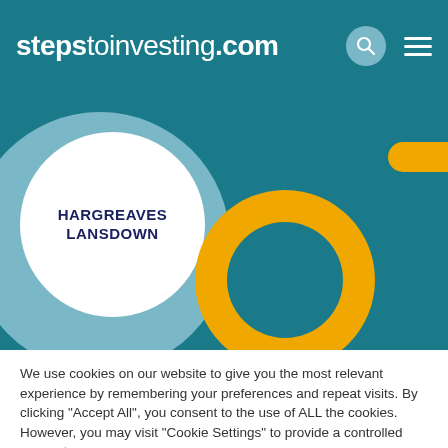stepstoinvesting.com
[Figure (illustration): Decorative hero image with teal background, large light-blue circle, white circle containing Hargreaves Lansdown logo text, and a gold donut ring shape]
We use cookies on our website to give you the most relevant experience by remembering your preferences and repeat visits. By clicking “Accept All”, you consent to the use of ALL the cookies. However, you may visit "Cookie Settings" to provide a controlled consent.
Cookie Settings | Accept All